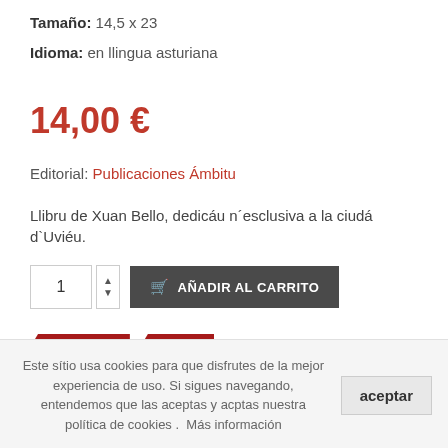Tamaño: 14,5 x 23
Idioma: en llingua asturiana
14,00 €
Editorial: Publicaciones Ámbitu
Llibru de Xuan Bello, dedicáu n´esclusiva a la ciudá d`Uviéu.
1  AÑADIR AL CARRITO
Xuan Bello
Relatu
Este sítio usa cookies para que disfrutes de la mejor experiencia de uso. Si sigues navegando, entendemos que las aceptas y acptas nuestra política de cookies .  Más información
aceptar